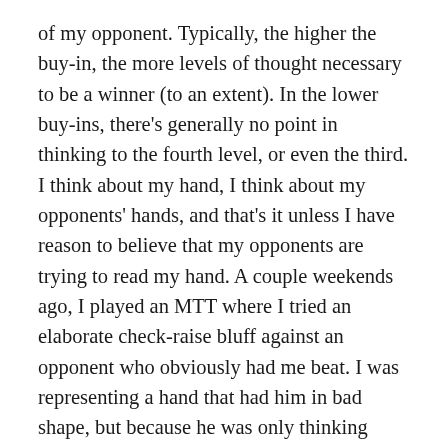of my opponent. Typically, the higher the buy-in, the more levels of thought necessary to be a winner (to an extent). In the lower buy-ins, there's generally no point in thinking to the fourth level, or even the third. I think about my hand, I think about my opponents' hands, and that's it unless I have reason to believe that my opponents are trying to read my hand. A couple weekends ago, I played an MTT where I tried an elaborate check-raise bluff against an opponent who obviously had me beat. I was representing a hand that had him in bad shape, but because he was only thinking about his hand and wasn't trying to put me on a hand, I donked off a bunch of my chips. I was thinking on the third level, but he was only thinking on the first level, so I was just wasting brain power and chips. After the hand, a more experienced player at the table said, “Nice bet, I would’ve folded to you there.” My